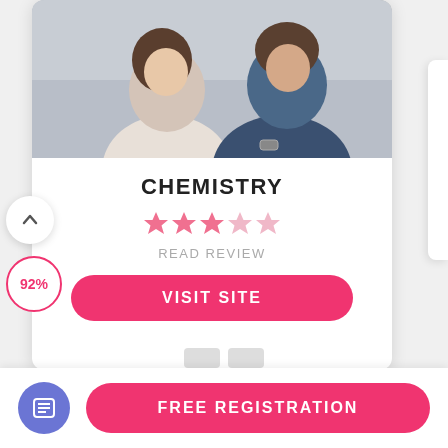[Figure (photo): Couple sitting together, woman in white shirt with arms crossed, man in dark blue shirt wearing a watch]
CHEMISTRY
[Figure (other): 3.5 out of 5 star rating displayed as pink stars]
READ REVIEW
VISIT SITE
92%
FREE REGISTRATION